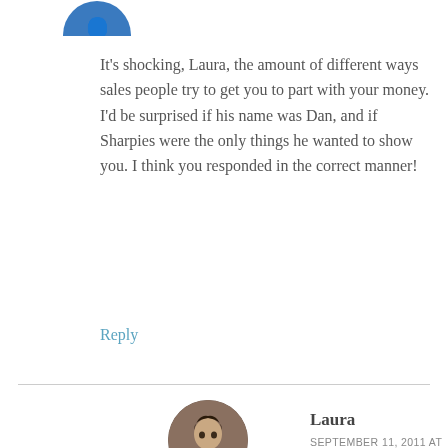[Figure (photo): Partial circular avatar image, blue color, visible at top left, cropped]
It's shocking, Laura, the amount of different ways sales people try to get you to part with your money. I'd be surprised if his name was Dan, and if Sharpies were the only things he wanted to show you. I think you responded in the correct manner!
Reply
[Figure (photo): Circular avatar photo of Laura, a woman with dark hair]
Laura
SEPTEMBER 11, 2011 AT 1:49 AM
That's actually what I thought was going on, until I looked at the picture.